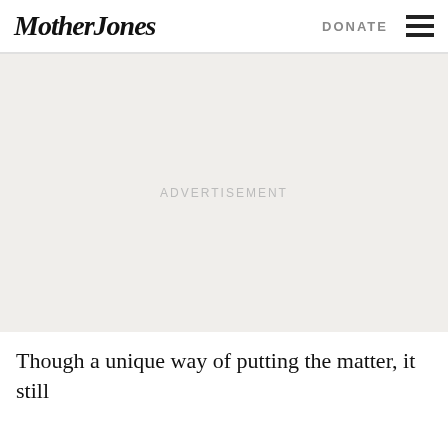Mother Jones | DONATE
[Figure (other): Advertisement placeholder area with light gray background and centered ADVERTISEMENT text]
Though a unique way of putting the matter, it still